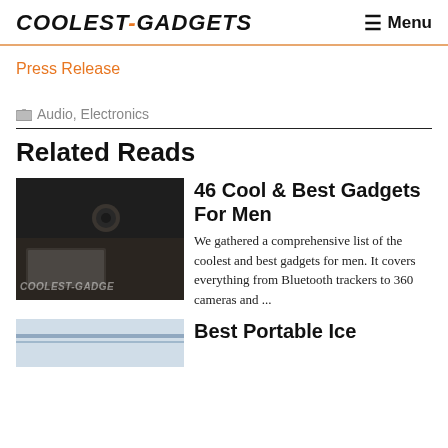COOLEST-GADGETS  Menu
Press Release
Audio, Electronics
Related Reads
[Figure (photo): Dark flatlay of gadgets including keyboard and small device with COOLEST-GADGETS watermark]
46 Cool & Best Gadgets For Men
We gathered a comprehensive list of the coolest and best gadgets for men. It covers everything from Bluetooth trackers to 360 cameras and ...
[Figure (photo): Partial thumbnail image, blue/light toned]
Best Portable Ice